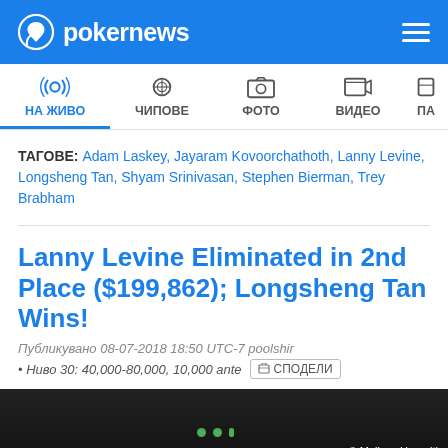pokernews
НА ЖИВО | ЧИПОВЕ | ФОТО | ВИДЕО | ПА
ТАГОВЕ: Adam Laskey, Jayaram Kovoorchathoth, Lanny Levine, Longsheng Tan, Shyam Srinivasan, Stephen Bierman, Trey Brabham
Lanny Levine Eliminated in 2nd Place ($199,862); Longsheng Tan Wins!
Публикувано 08-07-2018 18:50 UTC-7 poolshir
• Ниво 30: 40,000-80,000, 10,000 ante  СПОДЕЛИ
[Figure (photo): Dark photo strip with green dots and copyright credit Melissa Haereiti]